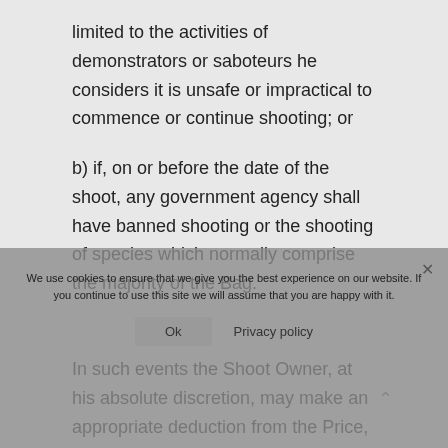limited to the activities of demonstrators or saboteurs he considers it is unsafe or impractical to commence or continue shooting; or
b) if, on or before the date of the shoot, any government agency shall have banned shooting or the shooting of species which normally comprise the majority of the Bag.
In such events the Shoot Owner, at his absolute discretion, may make an appropriate deduction from the Price, or offer an alternative day's shooting, but the Shoot Owner does not accept any legal responsibility to reimburse the Hirer in the event of cancellation under this clause. The Hirer is